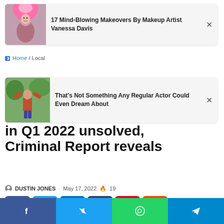[Figure (photo): Advertisement card 1: image of person with pink feathered costume and text '17 Mind-Blowing Makeovers By Makeup Artist Vanessa Davis' with close X button]
Home / Local
[Figure (photo): Advertisement card 2: image of a man outdoors with arms raised and text 'That’s Not Something Any Regular Actor Could Even Dream About' with close X button]
...or Murders in Durham in Q1 2022 unsolved, Criminal Report reveals
DUSTIN JONES · May 17, 2022 🔥 19
[Figure (infographic): Social share buttons: Facebook (blue), Twitter (light blue), LinkedIn (teal), Tumblr (dark blue-grey), Pinterest (red), Reddit (orange)]
[Figure (screenshot): Bottom share bar with Facebook, Twitter, WhatsApp, Telegram icons]